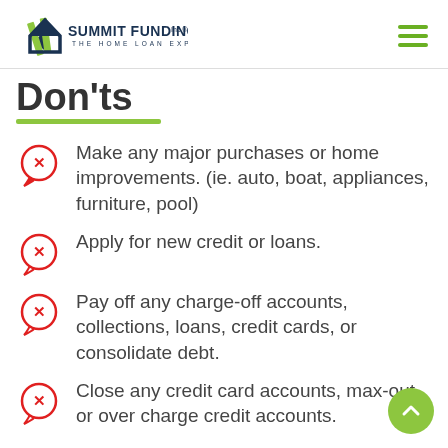Summit Funding Inc. — The Home Loan Experts
Don'ts
Make any major purchases or home improvements. (ie. auto, boat, appliances, furniture, pool)
Apply for new credit or loans.
Pay off any charge-off accounts, collections, loans, credit cards, or consolidate debt.
Close any credit card accounts, max-out, or over charge credit accounts.